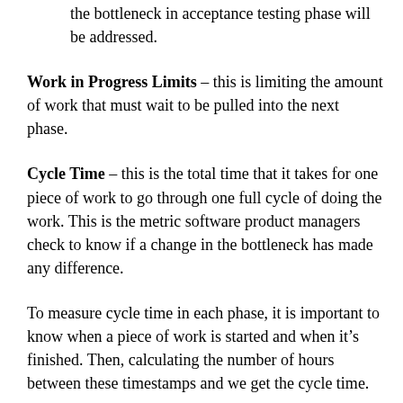the bottleneck in acceptance testing phase will be addressed.
Work in Progress Limits – this is limiting the amount of work that must wait to be pulled into the next phase.
Cycle Time – this is the total time that it takes for one piece of work to go through one full cycle of doing the work. This is the metric software product managers check to know if a change in the bottleneck has made any difference.
To measure cycle time in each phase, it is important to know when a piece of work is started and when it's finished. Then, calculating the number of hours between these timestamps and we get the cycle time.
Cycle time is important because it's a measure of what the process can handle and the quality of practices